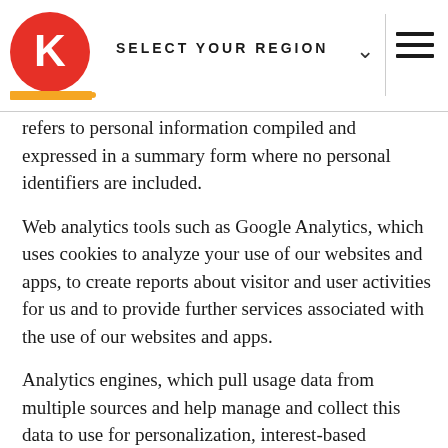SELECT YOUR REGION
refers to personal information compiled and expressed in a summary form where no personal identifiers are included.
Web analytics tools such as Google Analytics, which uses cookies to analyze your use of our websites and apps, to create reports about visitor and user activities for us and to provide further services associated with the use of our websites and apps.
Analytics engines, which pull usage data from multiple sources and help manage and collect this data to use for personalization, interest-based advertising, customizing content and other methods to gain insights into our customers' needs and preferences.
With respect to our mobile applications, we use